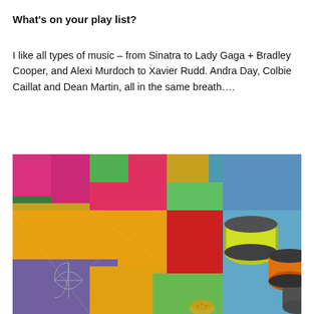What's on your play list?
I like all types of music – from Sinatra to Lady Gaga + Bradley Cooper, and Alexi Murdoch to Xavier Rudd. Andra Day, Colbie Caillat and Dean Martin, all in the same breath….
[Figure (photo): Close-up photograph of a colorful patchwork quilt made of bold batik fabrics in yellow, pink, red, green, teal and purple, with spools of yellow-green and orange thread resting on top.]